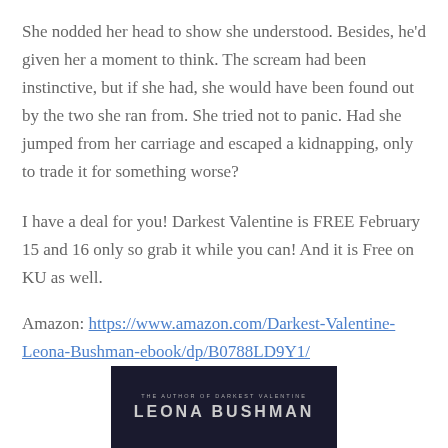She nodded her head to show she understood. Besides, he'd given her a moment to think. The scream had been instinctive, but if she had, she would have been found out by the two she ran from. She tried not to panic. Had she jumped from her carriage and escaped a kidnapping, only to trade it for something worse?
I have a deal for you! Darkest Valentine is FREE February 15 and 16 only so grab it while you can! And it is Free on KU as well.
Amazon: https://www.amazon.com/Darkest-Valentine-Leona-Bushman-ebook/dp/B0788LD9Y1/
[Figure (photo): Book cover or author image with text 'THE AUTHOR OF DARKEST VALENTINE' and 'LEONA BUSHMAN' in large letters on a dark background]